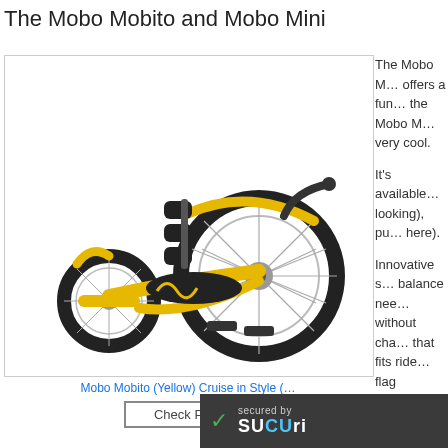The Mobo Mobito and Mobo Mini
[Figure (photo): Yellow three-wheeled recumbent tricycle (Mobo Mobito) with black seat, back support, and large front wheel]
Mobo Mobito (Yellow) Cruise in Style (…
The Mobo M… offers a fun… the Mobo M… very cool.
It's available… looking), pu… here).
Innovative s… balance nee… without cha… that fits ride… flag include…
increases…